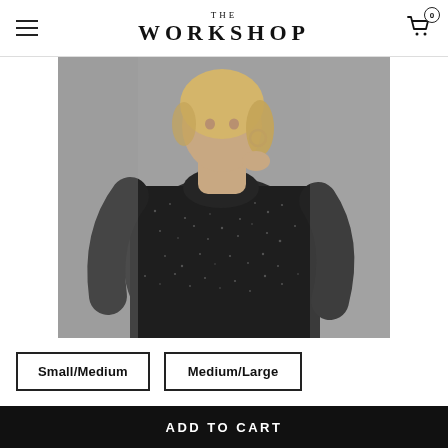THE WORKSHOP
[Figure (photo): Woman wearing a dark sparkle/lurex turtleneck long-sleeve top, photographed against a grey background. She has blonde hair pulled back and is wearing hoop earrings, with one hand raised near her chin.]
Small/Medium
Medium/Large
ADD TO CART